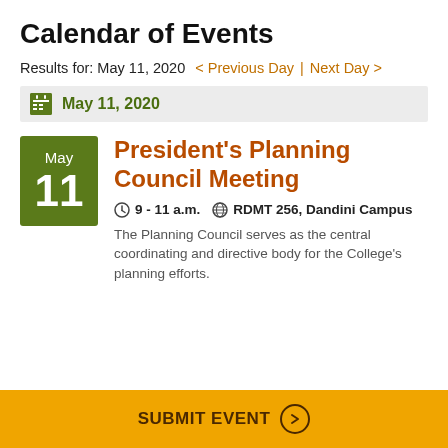Calendar of Events
Results for: May 11, 2020  < Previous Day | Next Day >
May 11, 2020
President's Planning Council Meeting
9 - 11 a.m.  RDMT 256, Dandini Campus
The Planning Council serves as the central coordinating and directive body for the College's planning efforts.
SUBMIT EVENT >